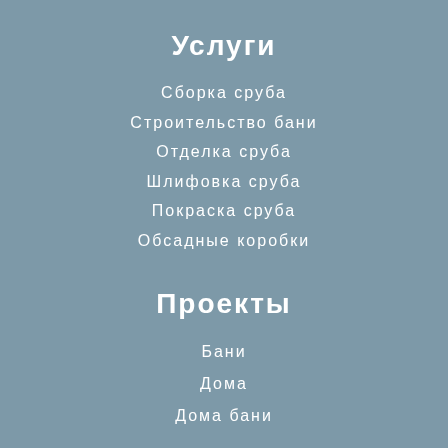Услуги
Сборка сруба
Строительство бани
Отделка сруба
Шлифовка сруба
Покраска сруба
Обсадные коробки
Проекты
Бани
Дома
Дома бани